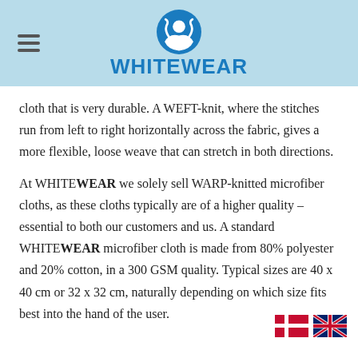[Figure (logo): WHITEWEAR logo — blue circular icon with white figure and hands raised, above blue text WHITEWEAR]
cloth that is very durable. A WEFT-knit, where the stitches run from left to right horizontally across the fabric, gives a more flexible, loose weave that can stretch in both directions.
At WHITEWEAR we solely sell WARP-knitted microfiber cloths, as these cloths typically are of a higher quality – essential to both our customers and us. A standard WHITEWEAR microfiber cloth is made from 80% polyester and 20% cotton, in a 300 GSM quality. Typical sizes are 40 x 40 cm or 32 x 32 cm, naturally depending on which size fits best into the hand of the user.
[Figure (illustration): Danish flag (Dannebrog) and UK flag (Union Jack) side by side in bottom right corner]